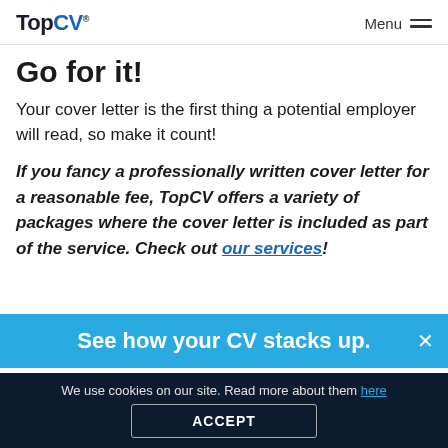TopCV® Menu
Go for it!
Your cover letter is the first thing a potential employer will read, so make it count!
If you fancy a professionally written cover letter for a reasonable fee, TopCV offers a variety of packages where the cover letter is included as part of the service. Check out our services!
See how your CV stacks up.
We use cookies on our site. Read more about them here